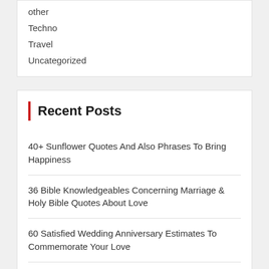other
Techno
Travel
Uncategorized
Recent Posts
40+ Sunflower Quotes And Also Phrases To Bring Happiness
36 Bible Knowledgeables Concerning Marriage & Holy Bible Quotes About Love
60 Satisfied Wedding Anniversary Estimates To Commemorate Your Love
29 Memorable Quotes From ‘Fairy’.
80 Renowned Quotes From Style Icons